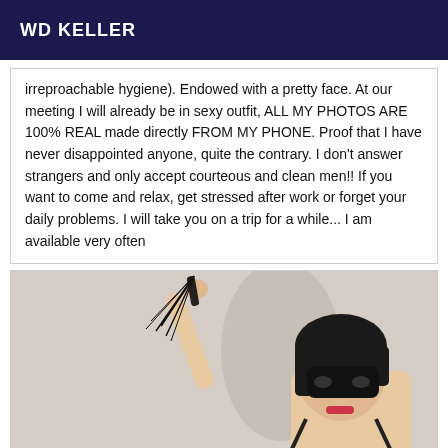WD KELLER
irreproachable hygiene). Endowed with a pretty face. At our meeting I will already be in sexy outfit, ALL MY PHOTOS ARE 100% REAL made directly FROM MY PHONE. Proof that I have never disappointed anyone, quite the contrary. I don't answer strangers and only accept courteous and clean men!! If you want to come and relax, get stressed after work or forget your daily problems. I will take you on a trip for a while... I am available very often
[Figure (photo): Photo of a masked woman holding a whip raised above her head, wearing a black mask, with short dark hair, against a light background]